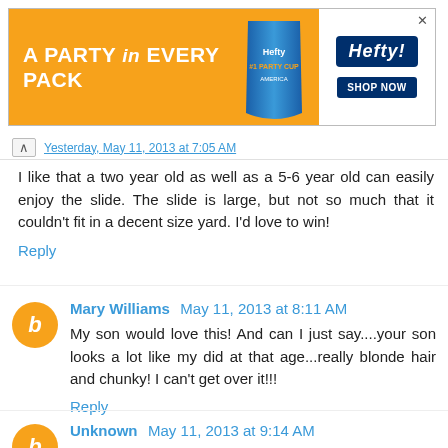[Figure (illustration): Hefty brand advertisement banner with orange background. Text reads 'A PARTY in EVERY PACK'. Shows Hefty party cup product and Hefty logo with 'SHOP NOW' button.]
I like that a two year old as well as a 5-6 year old can easily enjoy the slide. The slide is large, but not so much that it couldn't fit in a decent size yard. I'd love to win!
Reply
Mary Williams May 11, 2013 at 8:11 AM
My son would love this! And can I just say....your son looks a lot like my did at that age...really blonde hair and chunky! I can't get over it!!!
Reply
Unknown May 11, 2013 at 9:14 AM
Thanks for the review! This looks amazing!!! It's very helpful to see the pic of your son on it, helps to show the actual